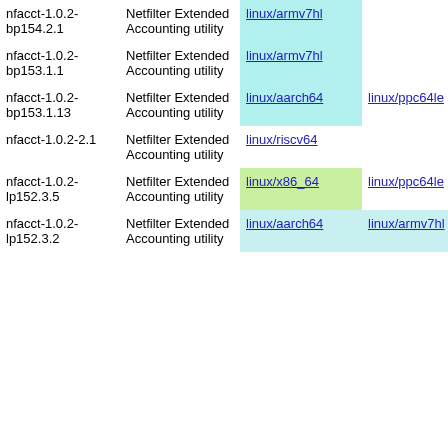| Package | Description | Arch1 | Arch2 | Arch3 |
| --- | --- | --- | --- | --- |
| nfacct-1.0.2-bp154.2.1 | Netfilter Extended Accounting utility | linux/armv7hl |  |  |
| nfacct-1.0.2-bp153.1.1 | Netfilter Extended Accounting utility | linux/armv7hl |  |  |
| nfacct-1.0.2-bp153.1.13 | Netfilter Extended Accounting utility | linux/aarch64 | linux/ppc64le | linux/s390x |
| nfacct-1.0.2-2.1 | Netfilter Extended Accounting utility | linux/riscv64 |  |  |
| nfacct-1.0.2-lp152.3.5 | Netfilter Extended Accounting utility | linux/x86_64 | linux/ppc64le |  |
| nfacct-1.0.2-lp152.3.2 | Netfilter Extended Accounting utility | linux/aarch64 | linux/armv7hl |  |